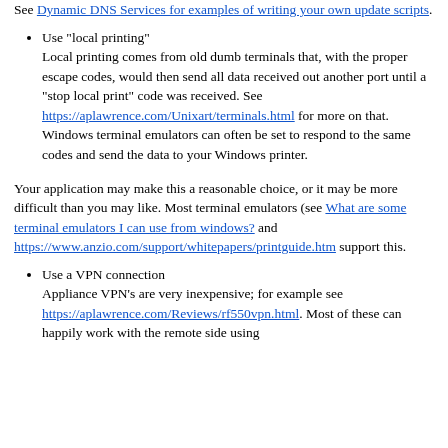See Dynamic DNS Services for examples of writing your own update scripts.
Use "local printing"
Local printing comes from old dumb terminals that, with the proper escape codes, would then send all data received out another port until a "stop local print" code was received. See https://aplawrence.com/Unixart/terminals.html for more on that. Windows terminal emulators can often be set to respond to the same codes and send the data to your Windows printer.
Your application may make this a reasonable choice, or it may be more difficult than you may like. Most terminal emulators (see What are some terminal emulators I can use from windows? and https://www.anzio.com/support/whitepapers/printguide.htm support this.
Use a VPN connection
Appliance VPN's are very inexpensive; for example see https://aplawrence.com/Reviews/rf550vpn.html. Most of these can happily work with the remote side using